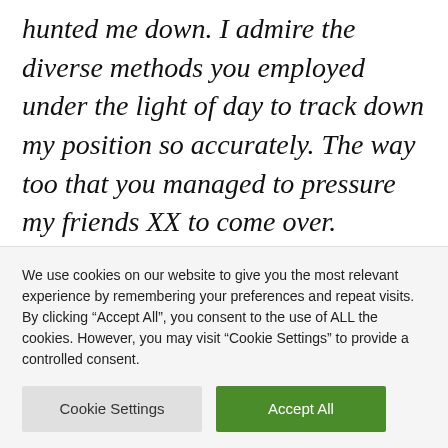hunted me down. I admire the diverse methods you employed under the light of day to track down my position so accurately. The way too that you managed to pressure my friends XX to come over.

Secondly, from the time I first arrived in Wuhan everything I have done has been in
We use cookies on our website to give you the most relevant experience by remembering your preferences and repeat visits. By clicking "Accept All", you consent to the use of ALL the cookies. However, you may visit "Cookie Settings" to provide a controlled consent.